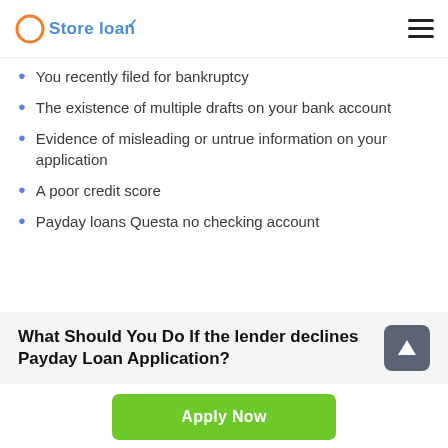Store loan
You recently filed for bankruptcy
The existence of multiple drafts on your bank account
Evidence of misleading or untrue information on your application
A poor credit score
Payday loans Questa no checking account
What Should You Do If the lender declines Payday Loan Application?
Apply Now
Applying does NOT affect your credit score!
No credit check to apply.